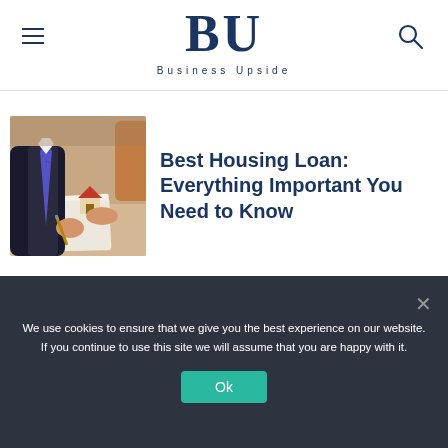BU — Business Upside
[Figure (photo): Person in business suit signing documents with a small house model on the table]
Best Housing Loan: Everything Important You Need to Know
We use cookies to ensure that we give you the best experience on our website. If you continue to use this site we will assume that you are happy with it.